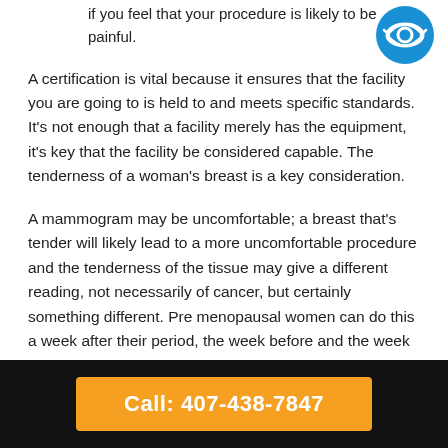if you feel that your procedure is likely to be painful.
[Figure (logo): Circular blue logo with white eye/vision icon]
A certification is vital because it ensures that the facility you are going to is held to and meets specific standards. It's not enough that a facility merely has the equipment, it's key that the facility be considered capable. The tenderness of a woman's breast is a key consideration.
A mammogram may be uncomfortable; a breast that's tender will likely lead to a more uncomfortable procedure and the tenderness of the tissue may give a different reading, not necessarily of cancer, but certainly something different. Pre menopausal women can do this a week after their period, the week before and the week
Call: 407-438-7847